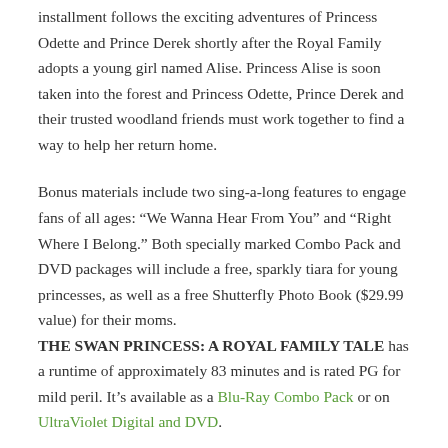installment follows the exciting adventures of Princess Odette and Prince Derek shortly after the Royal Family adopts a young girl named Alise. Princess Alise is soon taken into the forest and Princess Odette, Prince Derek and their trusted woodland friends must work together to find a way to help her return home.
Bonus materials include two sing-a-long features to engage fans of all ages: “We Wanna Hear From You” and “Right Where I Belong.” Both specially marked Combo Pack and DVD packages will include a free, sparkly tiara for young princesses, as well as a free Shutterfly Photo Book ($29.99 value) for their moms.
THE SWAN PRINCESS: A ROYAL FAMILY TALE has a runtime of approximately 83 minutes and is rated PG for mild peril. It’s available as a Blu-Ray Combo Pack or on UltraViolet Digital and DVD.